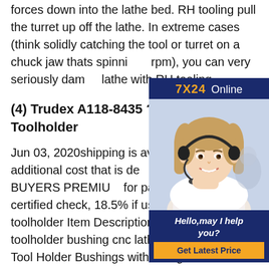forces down into the lathe bed. RH tooling pull the turret up off the lathe. In extreme cases (think solidly catching the tool or turret on a chuck jaw thats spinning rpm), you can very seriously dam lathe with RH tooling.
(4) Trudex A118-8435 ??? CNC Toolholder
Jun 03, 2020shipping is available items for additional cost that is de after the sale. BUYERS PREMIU for payments by wire or certified check, 18.5% if using sale cnc lathe toolholder Item Description z tool holder toolholder bushing cnc lathe global cncZ Style Tool Holder Bushings with Elongated Slot. Head with 2 Set Screws positioned 90
[Figure (photo): Advertisement overlay showing a female customer service representative wearing a headset, smiling. Dark blue background with '7X24 Online' text at top in gold and white, 'Hello, may I help you?' in italic white text, and a 'Get Latest Price' button in gold.]